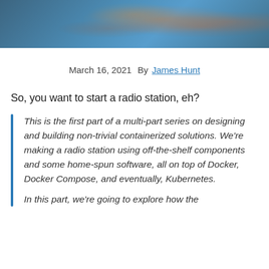[Figure (photo): Hero image with blue overlay showing fruit (oranges/mangoes) in the background]
March 16, 2021    By James Hunt
So, you want to start a radio station, eh?
This is the first part of a multi-part series on designing and building non-trivial containerized solutions. We're making a radio station using off-the-shelf components and some home-spun software, all on top of Docker, Docker Compose, and eventually, Kubernetes.

In this part, we're going to explore how the